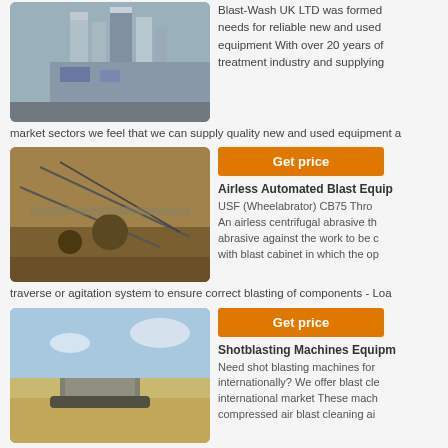[Figure (photo): Industrial facility with tall silos and equipment]
Blast-Wash UK LTD was formed needs for reliable new and used equipment With over 20 years of treatment industry and supplying market sectors we feel that we can supply quality new and used equipment a
[Figure (photo): Open pit mining or quarry site with machinery and conveyors]
Get price
Airless Automated Blast Equip
USF (Wheelabrator) CB75 Thro An airless centrifugal abrasive th abrasive against the work to be c with blast cabinet in which the op traverse or agitation system to ensure correct blasting of components - Loa
[Figure (photo): Heavy construction or mining machine in open field]
Get price
Shotblasting Machines Equipm
Need shot blasting machines for internationally? We offer blast cle international market These mach compressed air blast cleaning ai
The pressure blast machines blast rooms recovery systems dust extraction other dust extractors are all available
Get price